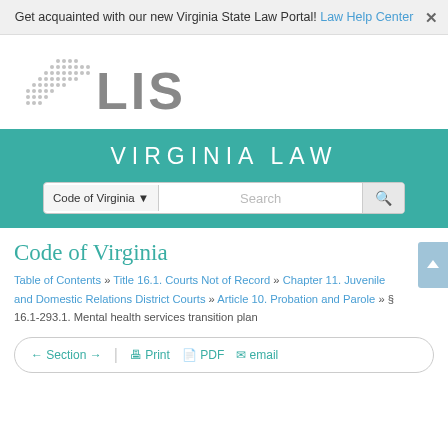Get acquainted with our new Virginia State Law Portal! Law Help Center
[Figure (logo): Virginia LIS logo — stylized Virginia state outline made of dots beside the text 'LIS' in bold gray]
VIRGINIA LAW
Code of Virginia dropdown and Search bar
Code of Virginia
Table of Contents » Title 16.1. Courts Not of Record » Chapter 11. Juvenile and Domestic Relations District Courts » Article 10. Probation and Parole » § 16.1-293.1. Mental health services transition plan
← Section → Print PDF email